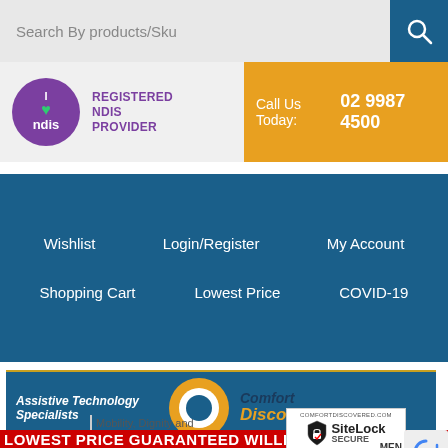[Figure (screenshot): Search bar with text 'Search By products/Sku' and blue search button with magnifier icon]
[Figure (screenshot): NDIS registered provider logo with purple circle and call us today orange bar showing 02 9987 4500]
[Figure (screenshot): Navigation menu on dark blue background with Wishlist, Login/Register, My Account, Shopping Cart, Lowest Price, COVID-19]
[Figure (screenshot): Comfort Discovered banner - Assistive Technology Specialists with logo circle and Comfort Discovered branding]
Mobility, Dignity and Independence
[Figure (screenshot): SiteLock SECURE badge showing COMFORTDISCOVERED.COM Passed 04-Sep-2022]
MENU
LOWEST PRICE GUARANTEED Willi